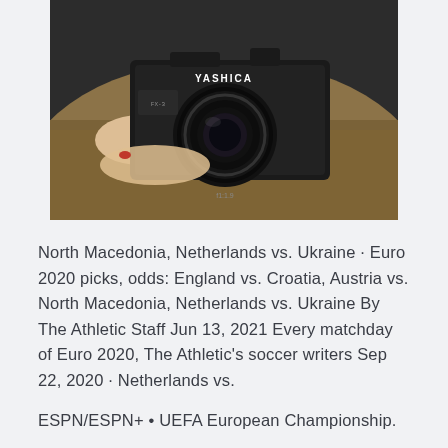[Figure (photo): Person holding a black YASHICA film camera, wearing a tan/brown knit sweater, with red nail polish visible on fingers]
North Macedonia, Netherlands vs. Ukraine · Euro 2020 picks, odds: England vs. Croatia, Austria vs. North Macedonia, Netherlands vs. Ukraine By The Athletic Staff Jun 13, 2021 Every matchday of Euro 2020, The Athletic's soccer writers Sep 22, 2020 · Netherlands vs.
ESPN/ESPN+ • UEFA European Championship.